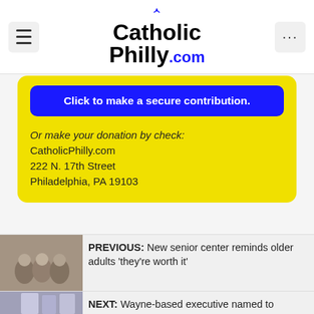CatholicPhilly.com
Click to make a secure contribution.
Or make your donation by check:
CatholicPhilly.com
222 N. 17th Street
Philadelphia, PA 19103
PREVIOUS: New senior center reminds older adults ‘they’re worth it’
NEXT: Wayne-based executive named to national Catholic council